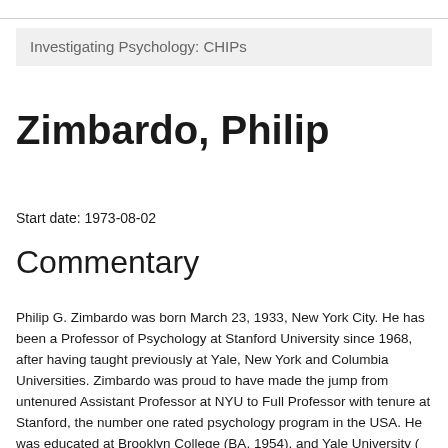Investigating Psychology: CHIPs
Zimbardo, Philip
Start date: 1973-08-02
Commentary
Philip G. Zimbardo was born March 23, 1933, New York City. He has been a Professor of Psychology at Stanford University since 1968, after having taught previously at Yale, New York and Columbia Universities. Zimbardo was proud to have made the jump from untenured Assistant Professor at NYU to Full Professor with tenure at Stanford, the number one rated psychology program in the USA. He was educated at Brooklyn College (BA, 1954), and Yale University ( MS and PhD, 1959), the latter in its golden days of Social Psychology.